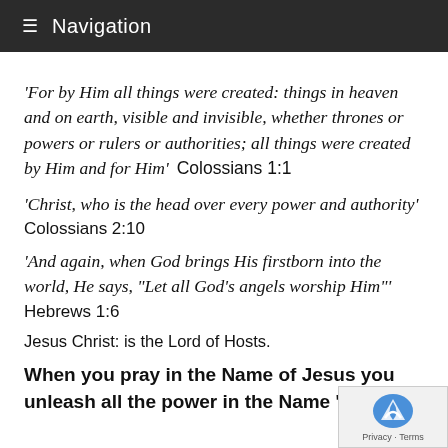Navigation
‘For by Him all things were created: things in heaven and on earth, visible and invisible, whether thrones or powers or rulers or authorities; all things were created by Him and for Him’  Colossians 1:1
‘Christ, who is the head over every power and authority’ Colossians 2:10
‘And again, when God brings His firstborn into the world, He says, “Let all God’s angels worship Him’” Hebrews 1:6
Jesus Christ: is the Lord of Hosts.
When you pray in the Name of Jesus you unleash all the power in the Name ‘the L